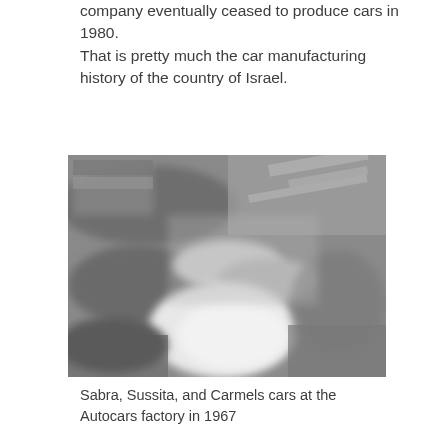company eventually ceased to produce cars in 1980. That is pretty much the car manufacturing history of the country of Israel.
[Figure (photo): Black and white blurred photograph of Sabra, Sussita, and Carmels cars at the Autocars factory in 1967.]
Sabra, Sussita, and Carmels cars at the Autocars factory in 1967